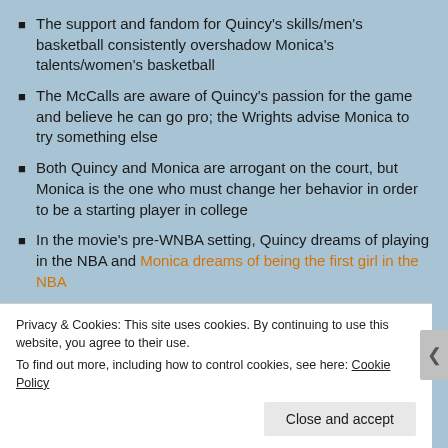The support and fandom for Quincy's skills/men's basketball consistently overshadow Monica's talents/women's basketball
The McCalls are aware of Quincy's passion for the game and believe he can go pro; the Wrights advise Monica to try something else
Both Quincy and Monica are arrogant on the court, but Monica is the one who must change her behavior in order to be a starting player in college
In the movie's pre-WNBA setting, Quincy dreams of playing in the NBA and Monica dreams of being the first girl in the NBA
Quincy (and every other character) cannot grasp why
Privacy & Cookies: This site uses cookies. By continuing to use this website, you agree to their use.
To find out more, including how to control cookies, see here: Cookie Policy